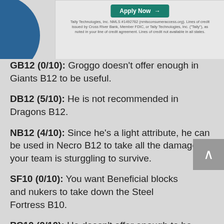[Figure (screenshot): Advertisement banner with Apply Now button and fine print text from Tally Technologies]
GB12 (0/10): Groggo doesn't offer enough in Giants B12 to be useful.
DB12 (5/10): He is not recommended in Dragons B12.
NB12 (4/10): Since he's a light attribute, he can be used in Necro B12 to take all the damage if your team is sturggling to survive.
SF10 (0/10): You want Beneficial blocks and nukers to take down the Steel Fortress B10.
PC10 (0/10): He doesn't offer enough to be useful here.